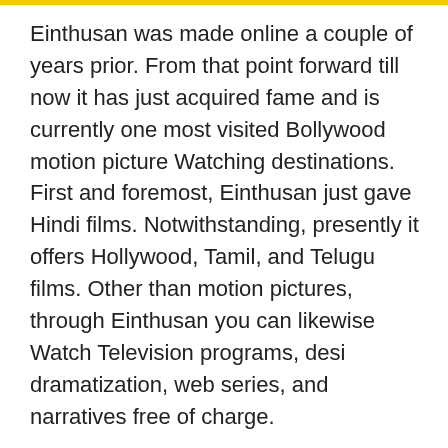Einthusan was made online a couple of years prior. From that point forward till now it has just acquired fame and is currently one most visited Bollywood motion picture Watching destinations. First and foremost, Einthusan just gave Hindi films. Notwithstanding, presently it offers Hollywood, Tamil, and Telugu films. Other than motion pictures, through Einthusan you can likewise Watch Television programs, desi dramatization, web series, and narratives free of charge.
Prior to knowing any further with regards to Einthusan, you should realize that Einthusan is an illicit site. Einthusan had been prohibited in India